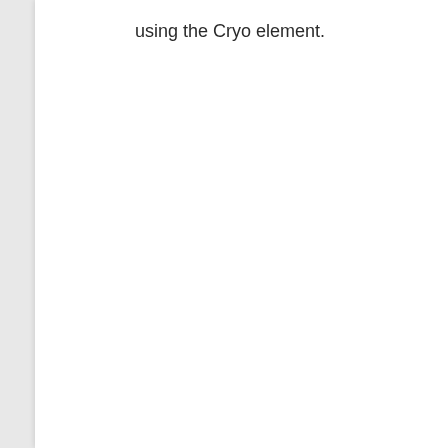using the Cryo element.
[Figure (other): Back to top button: a blue rounded square with a white upward-pointing chevron arrow]